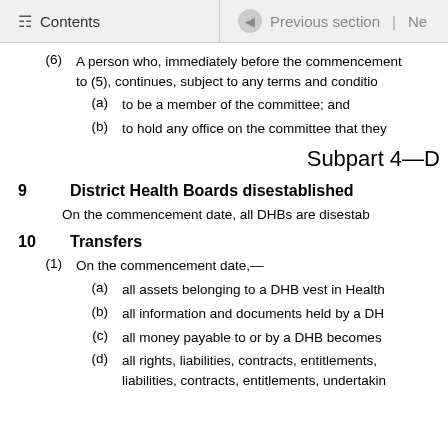Contents | Previous section | Ne
(6) A person who, immediately before the commencement to (5), continues, subject to any terms and conditions
(a) to be a member of the committee; and
(b) to hold any office on the committee that they
Subpart 4—D
9 District Health Boards disestablished
On the commencement date, all DHBs are disestab
10 Transfers
(1) On the commencement date,—
(a) all assets belonging to a DHB vest in Health
(b) all information and documents held by a DH
(c) all money payable to or by a DHB becomes
(d) all rights, liabilities, contracts, entitlements, liabilities, contracts, entitlements, undertakin